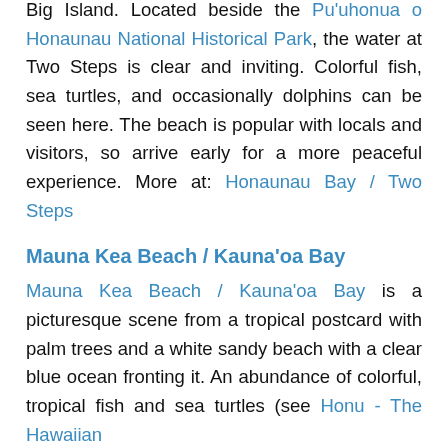Big Island. Located beside the Pu'uhonua o Honaunau National Historical Park, the water at Two Steps is clear and inviting. Colorful fish, sea turtles, and occasionally dolphins can be seen here. The beach is popular with locals and visitors, so arrive early for a more peaceful experience. More at: Honaunau Bay / Two Steps
Mauna Kea Beach / Kauna'oa Bay
Mauna Kea Beach / Kauna'oa Bay is a picturesque scene from a tropical postcard with palm trees and a white sandy beach with a clear blue ocean fronting it. An abundance of colorful, tropical fish and sea turtles (see Honu - The Hawaiian